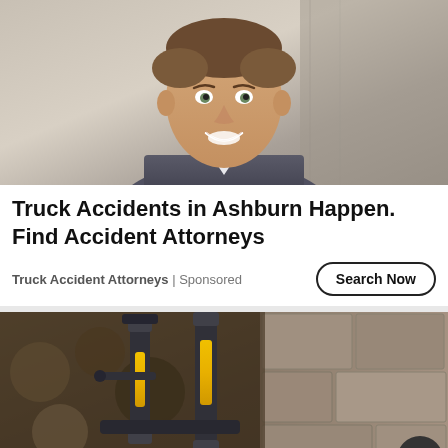[Figure (photo): Professional headshot of a smiling man in a suit against a stone/concrete wall background]
Truck Accidents in Ashburn Happen. Find Accident Attorneys
Truck Accident Attorneys | Sponsored
[Figure (photo): Industrial equipment photo showing hydraulic or drilling machinery with yellow and black components mounted against a stone wall, with cables on the ground]